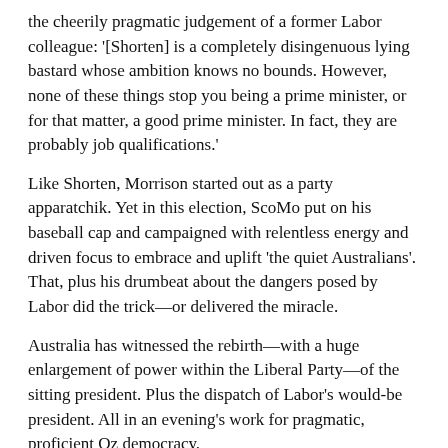the cheerily pragmatic judgement of a former Labor colleague: '[Shorten] is a completely disingenuous lying bastard whose ambition knows no bounds. However, none of these things stop you being a prime minister, or for that matter, a good prime minister. In fact, they are probably job qualifications.'
Like Shorten, Morrison started out as a party apparatchik. Yet in this election, ScoMo put on his baseball cap and campaigned with relentless energy and driven focus to embrace and uplift 'the quiet Australians'. That, plus his drumbeat about the dangers posed by Labor did the trick—or delivered the miracle.
Australia has witnessed the rebirth—with a huge enlargement of power within the Liberal Party—of the sitting president. Plus the dispatch of Labor's would-be president. All in an evening's work for pragmatic, proficient Oz democracy.
This article was published by The Strategist.
SHARE WITH: